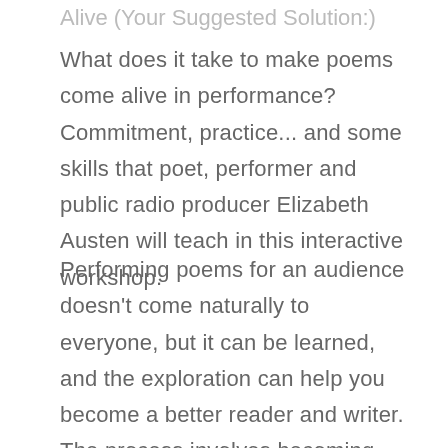Alive (Your Suggested Solution:)
What does it take to make poems come alive in performance? Commitment, practice... and some skills that poet, performer and public radio producer Elizabeth Austen will teach in this interactive workshop.
Performing poems for an audience doesn't come naturally to everyone, but it can be learned, and the exploration can help you become a better reader and writer. The process involves becoming intimate with the poem—